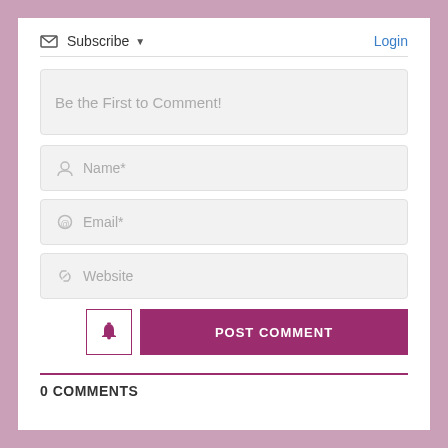Subscribe ▼
Login
Be the First to Comment!
Name*
Email*
Website
POST COMMENT
0 COMMENTS